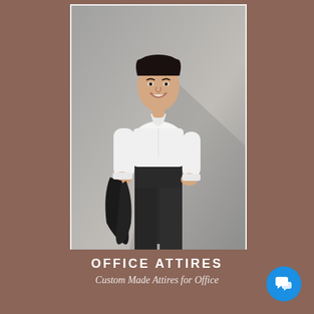[Figure (photo): A young man in business office attire — white long-sleeve dress shirt, black trousers, holding a dark blazer jacket over his shoulder — photographed against a gray studio background. He is smiling and has his other hand in his pocket.]
OFFICE ATTIRES
Custom Made Attires for Office